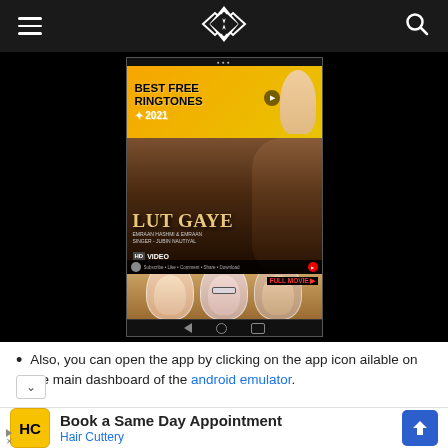Navigation bar with hamburger menu, logo, and search icon
[Figure (screenshot): Mobile phone screenshot showing a YouTube-like app with three panels: an ad banner for 'Best Free Ringtones 2021', a Bollywood music video 'Lut Gaye HD Video', and a 'Full Movie' panel showing three actors]
Also, you can open the app by clicking on the app icon available on the main dashboard of the android emulator.
[Figure (other): Advertisement for Hair Cuttery: 'Book a Same Day Appointment' with HC logo and navigation arrow icon]